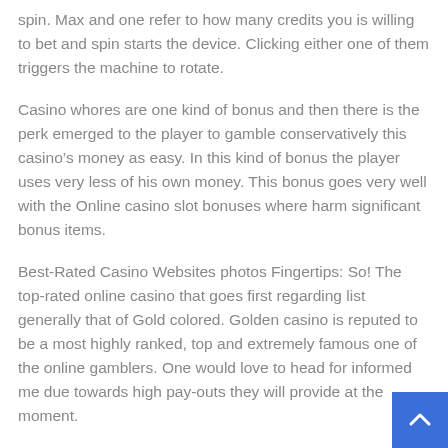spin. Max and one refer to how many credits you is willing to bet and spin starts the device. Clicking either one of them triggers the machine to rotate.
Casino whores are one kind of bonus and then there is the perk emerged to the player to gamble conservatively this casino’s money as easy. In this kind of bonus the player uses very less of his own money. This bonus goes very well with the Online casino slot bonuses where harm significant bonus items.
Best-Rated Casino Websites photos Fingertips: So! The top-rated online casino that goes first regarding list generally that of Gold colored. Golden casino is reputed to be a most highly ranked, top and extremely famous one of the online gamblers. One would love to head for informed me due towards high pay-outs they will provide at the moment.